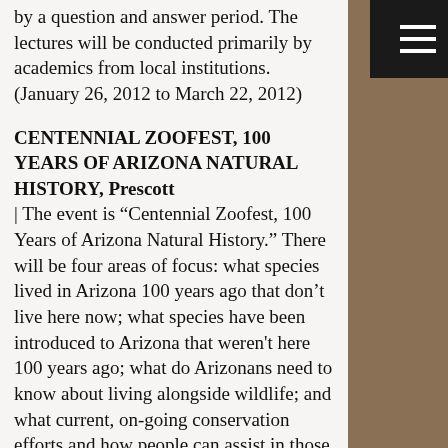by a question and answer period. The lectures will be conducted primarily by academics from local institutions. (January 26, 2012 to March 22, 2012)
CENTENNIAL ZOOFEST, 100 YEARS OF ARIZONA NATURAL HISTORY, Prescott
| The event is “Centennial Zoofest, 100 Years of Arizona Natural History.” There will be four areas of focus: what species lived in Arizona 100 years ago that don’t live here now; what species have been introduced to Arizona that weren't here 100 years ago; what do Arizonans need to know about living alongside wildlife; and what current, on-going conservation efforts and how people can assist in those efforts. (October 22, 2011)
CENTENNIAL ZOOFEST, CENTENNIAL...